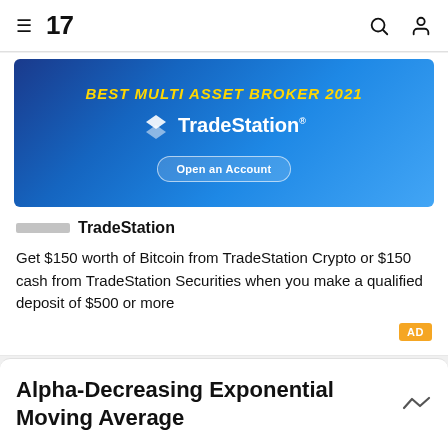TradingView navigation bar
[Figure (illustration): TradeStation advertisement banner with blue gradient background, 'Best Multi Asset Broker 2021' text in gold italics, TradeStation logo in white, and 'Open an Account' button]
TradeStation
Get $150 worth of Bitcoin from TradeStation Crypto or $150 cash from TradeStation Securities when you make a qualified deposit of $500 or more
AD
Alpha-Decreasing Exponential Moving Average